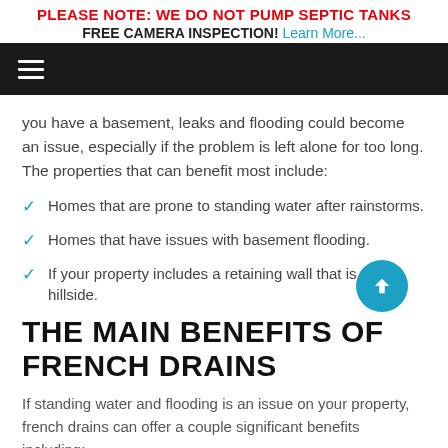PLEASE NOTE: WE DO NOT PUMP SEPTIC TANKS
FREE CAMERA INSPECTION! Learn More...
you have a basement, leaks and flooding could become an issue, especially if the problem is left alone for too long. The properties that can benefit most include:
Homes that are prone to standing water after rainstorms.
Homes that have issues with basement flooding.
If your property includes a retaining wall that is on a hillside.
THE MAIN BENEFITS OF FRENCH DRAINS
If standing water and flooding is an issue on your property, french drains can offer a couple significant benefits including: